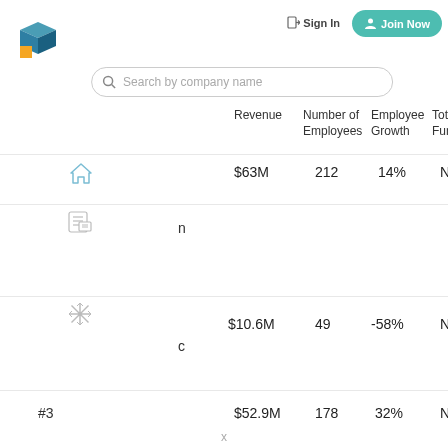[Figure (logo): Blue and orange geometric logo mark]
Sign In
Join Now
Search by company name
|  | Revenue | Number of Employees | Employee Growth | Total Funding |
| --- | --- | --- | --- | --- |
| [home icon] | $63M | 212 | 14% | N/A |
| [news icon] n |  |  |  |  |
| [snowflake icon] c | $10.6M | 49 | -58% | N/A |
| #3 | $52.9M | 178 | 32% | N/A |
x